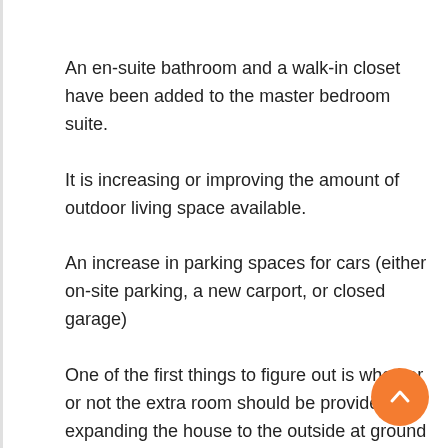An en-suite bathroom and a walk-in closet have been added to the master bedroom suite.
It is increasing or improving the amount of outdoor living space available.
An increase in parking spaces for cars (either on-site parking, a new carport, or closed garage)
One of the first things to figure out is whether or not the extra room should be provided by expanding the house to the outside at ground level or by adding a first floor to the home.
Unless the site area is pretty restricted or has potential views, the most economical option is to extend it to ground level.